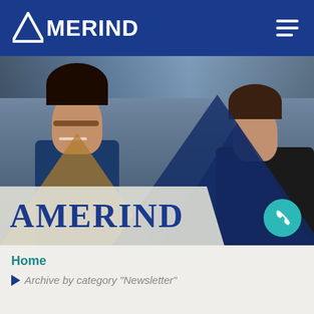AMERIND
[Figure (photo): Two women sitting at a desk, smiling, in an office environment. Geometric navy and gold triangle overlays on the photo. An 'AMERIND' text banner overlaid at the bottom left of the photo.]
AMERIND
Home
Archive by category "Newsletter"